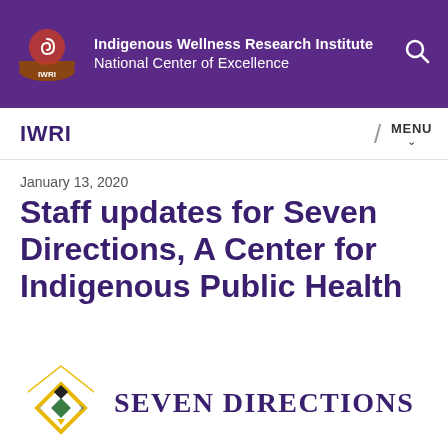Indigenous Wellness Research Institute National Center of Excellence
IWRI
January 13, 2020
Staff updates for Seven Directions, A Center for Indigenous Public Health
[Figure (logo): Seven Directions logo with geometric diamond shapes in yellow, black, green, blue, and gray, alongside the text SEVEN DIRECTIONS]